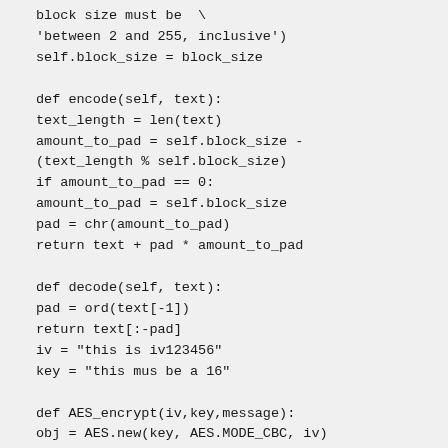block size must be  \
'between 2 and 255, inclusive')
self.block_size = block_size

def encode(self, text):
text_length = len(text)
amount_to_pad = self.block_size -
(text_length % self.block_size)
if amount_to_pad == 0:
amount_to_pad = self.block_size
pad = chr(amount_to_pad)
return text + pad * amount_to_pad

def decode(self, text):
pad = ord(text[-1])
return text[:-pad]
iv = "this is iv123456"
key = "this mus be a 16"

def AES_encrypt(iv,key,message):
obj = AES.new(key, AES.MODE_CBC, iv)
pkcs7 = PKCS7Encoder()